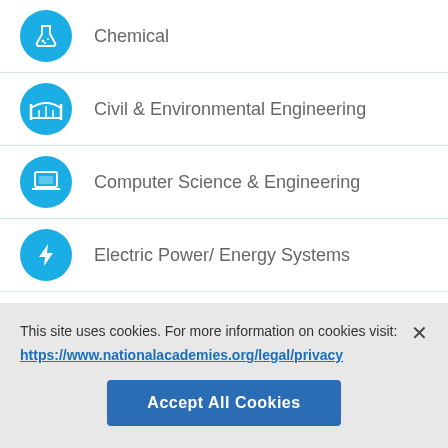Chemical
Civil & Environmental Engineering
Computer Science & Engineering
Electric Power/ Energy Systems
Electronics, Communication &Information Systems
Industrial, Manufacturing & Operations
This site uses cookies. For more information on cookies visit:
https://www.nationalacademies.org/legal/privacy
Accept All Cookies